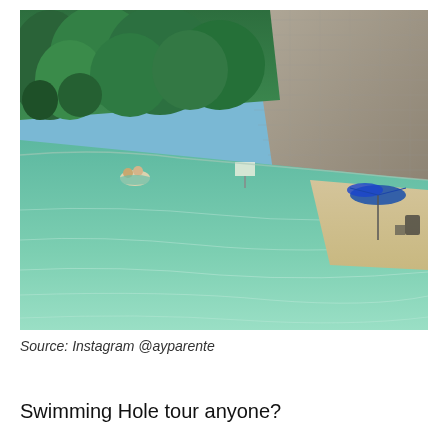[Figure (photo): Outdoor photograph of a clear green swimming hole with a sandy beach on the right side. A blue umbrella and some equipment are on the beach. Two people are in the water on the left side. Behind the water is dense green bushland trees on the left and a large stone/rock retaining wall on the right. Blue sky is visible at the top.]
Source: Instagram @ayparente
Swimming Hole tour anyone?